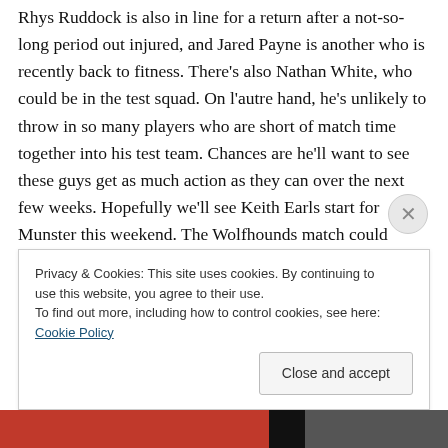Rhys Ruddock is also in line for a return after a not-so-long period out injured, and Jared Payne is another who is recently back to fitness. There’s also Nathan White, who could be in the test squad. On l’autre hand, he’s unlikely to throw in so many players who are short of match time together into his test team. Chances are he’ll want to see these guys get as much action as they can over the next few weeks. Hopefully we’ll see Keith Earls start for Munster this weekend. The Wolfhounds match could prove a handy tool, and it wouldn’t be a surprise to see a very
Privacy & Cookies: This site uses cookies. By continuing to use this website, you agree to their use.
To find out more, including how to control cookies, see here: Cookie Policy
Close and accept